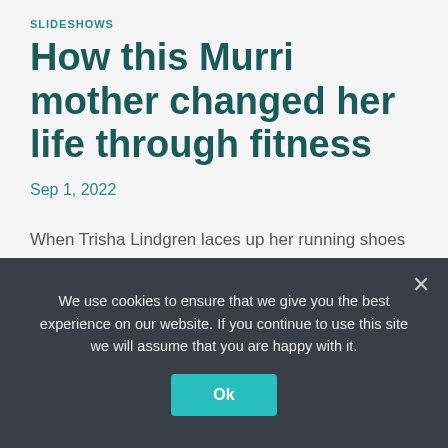SLIDESHOWS
How this Murri mother changed her life through fitness
Sep 1, 2022
When Trisha Lindgren laces up her running shoes and hits a trail on Kaurna Country, she finds her Zen. With the blue sky above, hot wind on her skin and feet...
We use cookies to ensure that we give you the best experience on our website. If you continue to use this site we will assume that you are happy with it.